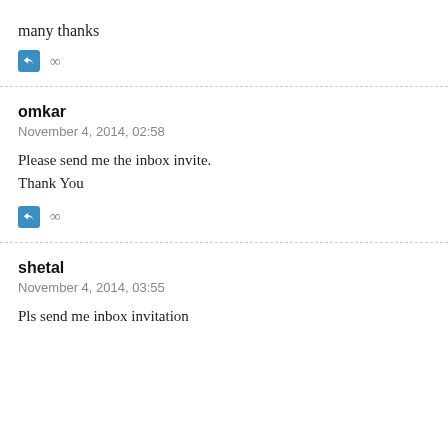many thanks
∞
omkar
November 4, 2014, 02:58
Please send me the inbox invite.
Thank You
∞
shetal
November 4, 2014, 03:55
Pls send me inbox invitation